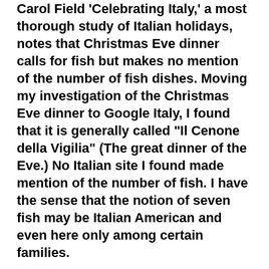Carol Field 'Celebrating Italy,' a most thorough study of Italian holidays, notes that Christmas Eve dinner calls for fish but makes no mention of the number of fish dishes. Moving my investigation of the Christmas Eve dinner to Google Italy, I found that it is generally called "Il Cenone della Vigilia" (The great dinner of the Eve.) No Italian site I found made mention of the number of fish. I have the sense that the notion of seven fish may be Italian American and even here only among certain families.
The next question I considered was the type of fish. Almost every reference I found and all the people I interviewed had numerous variations. Among most Italians sites two fish appeared most often, baccalà and eel. Among traditional Italian Americans the two most common dishes were baccalà (usually in a cold salad recipe) and fried smelts. In many younger and less traditionally bound Italian Americans all the old time fish were gone. The new fish platters now included shrimp